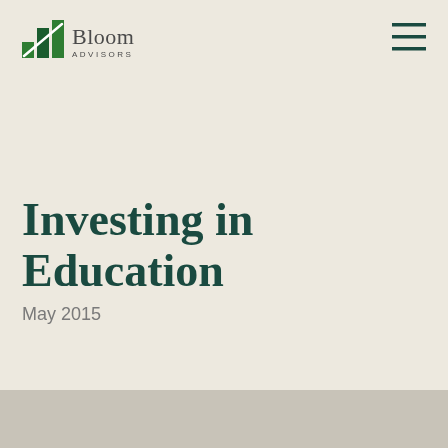[Figure (logo): Bloom Advisors logo with green bar chart icon and company name]
Investing in Education
May 2015